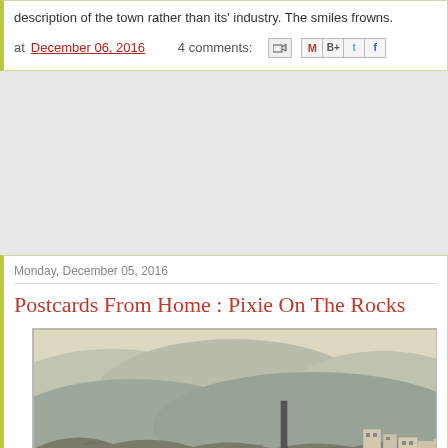description of the town rather than its' industry. The smiles frowns.
at December 06, 2016   4 comments:
Monday, December 05, 2016
Postcards From Home : Pixie On The Rocks
[Figure (photo): Vintage black and white postcard image showing a hillside town with industrial buildings, a chimney/smokestack, hills in background, and various structures visible]